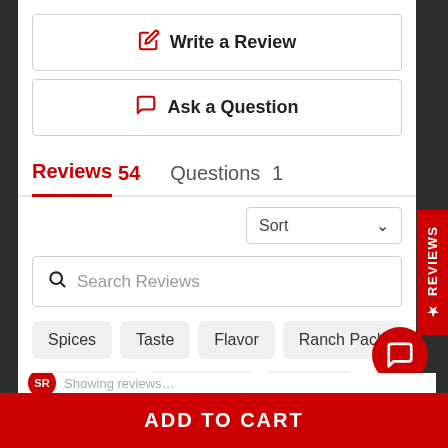✎ Write a Review
✉ Ask a Question
Reviews 54   Questions 1
Sort
Search Reviews
Spices
Taste
Flavor
Ranch Pack
Seasoning
Everything
Cooking
ADD TO CART